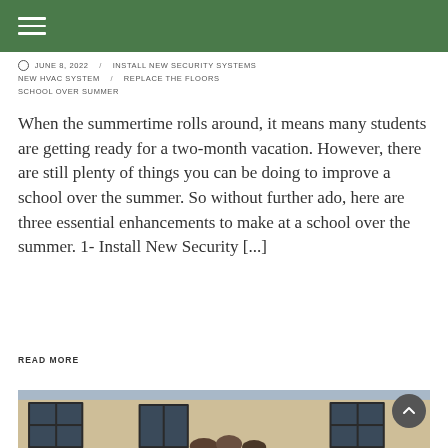JUNE 8, 2022   INSTALL NEW SECURITY SYSTEMS   NEW HVAC SYSTEM   REPLACE THE FLOORS   SCHOOL OVER SUMMER
When the summertime rolls around, it means many students are getting ready for a two-month vacation. However, there are still plenty of things you can be doing to improve a school over the summer. So without further ado, here are three essential enhancements to make at a school over the summer. 1- Install New Security [...]
READ MORE
[Figure (photo): Photo of students outside a school building with brick walls and dark-framed windows]